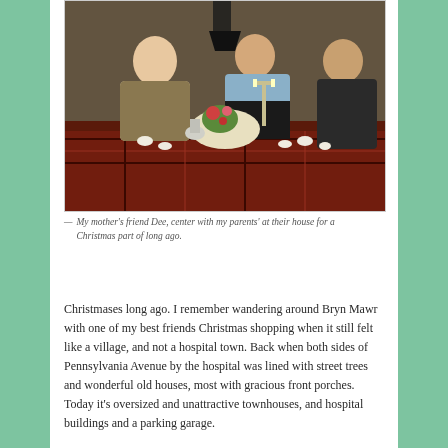[Figure (photo): Vintage indoor photo of three people around a dining table set with candles, cups, and a floral centerpiece. A man on the left, a woman in light blue in the center, and a woman in dark clothing on the right.]
— My mother's friend Dee, center with my parents' at their house for a Christmas part of long ago.
Christmases long ago. I remember wandering around Bryn Mawr with one of my best friends Christmas shopping when it still felt like a village, and not a hospital town. Back when both sides of Pennsylvania Avenue by the hospital was lined with street trees and wonderful old houses, most with gracious front porches. Today it's oversized and unattractive townhouses, and hospital buildings and a parking garage.